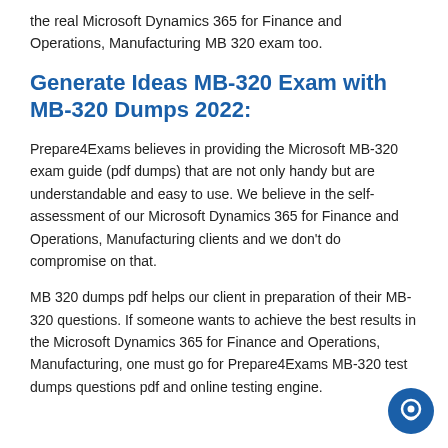the real Microsoft Dynamics 365 for Finance and Operations, Manufacturing MB 320 exam too.
Generate Ideas MB-320 Exam with MB-320 Dumps 2022:
Prepare4Exams believes in providing the Microsoft MB-320 exam guide (pdf dumps) that are not only handy but are understandable and easy to use. We believe in the self-assessment of our Microsoft Dynamics 365 for Finance and Operations, Manufacturing clients and we don't do compromise on that.
MB 320 dumps pdf helps our client in preparation of their MB-320 questions. If someone wants to achieve the best results in the Microsoft Dynamics 365 for Finance and Operations, Manufacturing, one must go for Prepare4Exams MB-320 test dumps questions pdf and online testing engine.